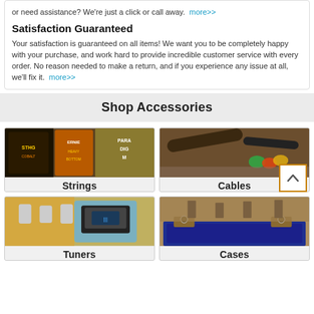or need assistance? We're just a click or call away. more>>
Satisfaction Guaranteed
Your satisfaction is guaranteed on all items! We want you to be completely happy with your purchase, and work hard to provide incredible customer service with every order. No reason needed to make a return, and if you experience any issue at all, we'll fix it. more>>
Shop Accessories
[Figure (photo): Guitar strings packages - Strings category image]
[Figure (photo): Guitar strap and picks - Cables category image]
[Figure (photo): Clip-on guitar tuner on guitar headstock - Tuners category image]
[Figure (photo): Open guitar case with blue velvet lining - Cases category image]